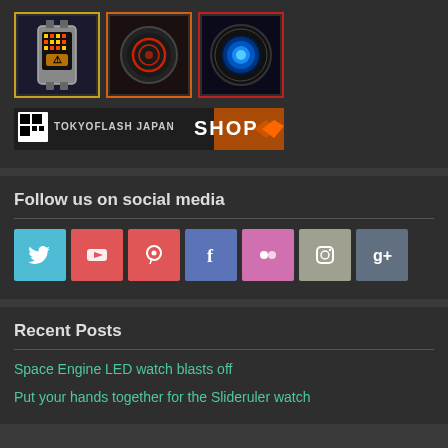[Figure (illustration): Three watch product images side by side: first with gold border showing LED display watch, second with orange border showing dark watch with red circle design, third with red border showing watch with blue circular element]
[Figure (logo): Tokyoflash Japan Shop banner with logo and chevron arrows]
Follow us on social media
[Figure (infographic): Seven social media icon buttons: Twitter (light blue), YouTube (red), Pinterest (red), Facebook (blue), Flickr (pink), Instagram (tan/gray), Google+ (dark gray)]
Recent Posts
Space Engine LED watch blasts off
Put your hands together for the Slideruler watch